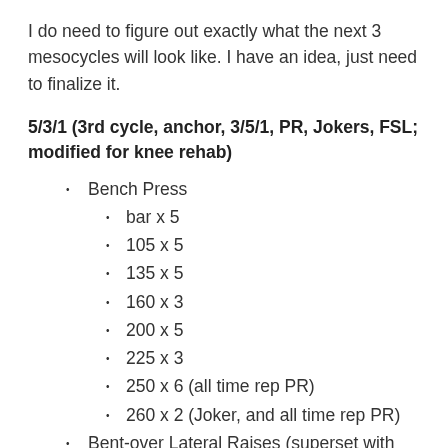I do need to figure out exactly what the next 3 mesocycles will look like. I have an idea, just need to finalize it.
5/3/1 (3rd cycle, anchor, 3/5/1, PR, Jokers, FSL; modified for knee rehab)
Bench Press
bar x 5
105 x 5
135 x 5
160 x 3
200 x 5
225 x 3
250 x 6 (all time rep PR)
260 x 2 (Joker, and all time rep PR)
Bent-over Lateral Raises (superset with bench